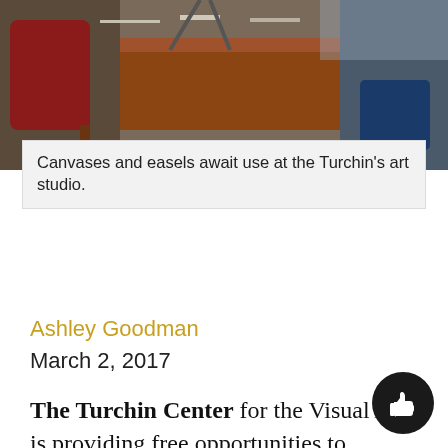[Figure (photo): Photo of canvases and easels in an art studio, showing tables and art supplies]
Canvases and easels await use at the Turchin's art studio.
Ashley Goodman
March 2, 2017
The Turchin Center for the Visual Arts is providing free opportunities to Appalachian State students this semester by offering a collection of workshops that rotate each week. Students can participate in open studio sessions, tai chi and yoga classes, and specialized workshops in alcohol inks and moon journals.
The classes are offered every week, with the exception of alcohol ink classes, which happen